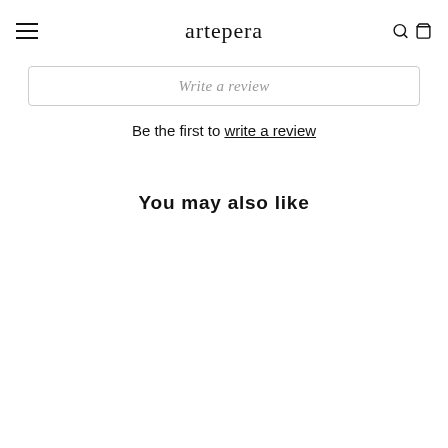artepera
Write a review
Be the first to write a review
You may also like